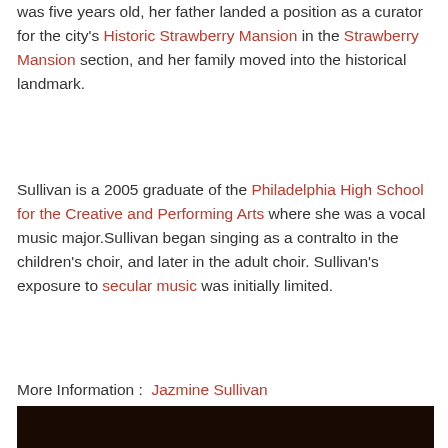was five years old, her father landed a position as a curator for the city's Historic Strawberry Mansion in the Strawberry Mansion section, and her family moved into the historical landmark.
Sullivan is a 2005 graduate of the Philadelphia High School for the Creative and Performing Arts where she was a vocal music major.Sullivan began singing as a contralto in the children's choir, and later in the adult choir. Sullivan's exposure to secular music was initially limited.
More Information :  Jazmine Sullivan
[Figure (photo): Bottom portion of a dark/night photo, partially visible at the bottom of the page]